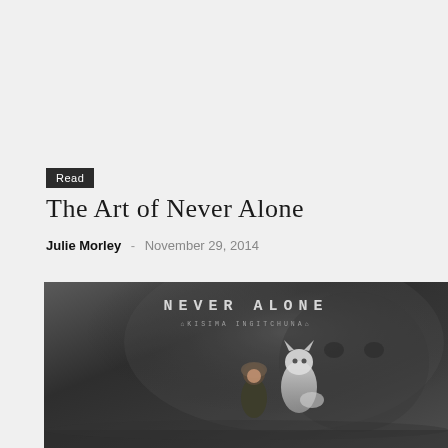Read
The Art of Never Alone
Julie Morley - November 29, 2014
[Figure (photo): Cover art for the video game 'Never Alone' (Kisima Ingitchuna) showing a small figure in a fur-lined parka standing next to a white arctic fox, with the game title text at the top in a stylized font against a dark atmospheric background.]